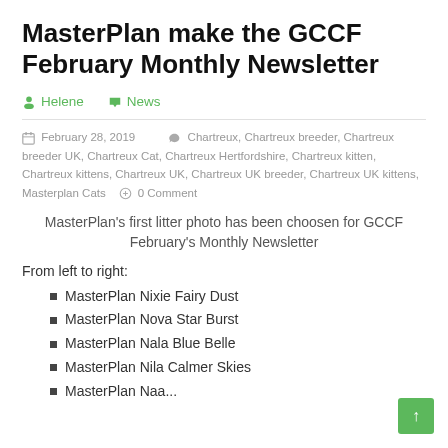MasterPlan make the GCCF February Monthly Newsletter
Helene   News
February 28, 2019   Chartreux, Chartreux breeder, Chartreux breeder UK, Chartreux Cat, Chartreux Hertfordshire, Chartreux kitten, Chartreux kittens, Chartreux UK, Chartreux UK breeder, Chartreux UK kittens, Masterplan Cats   0 Comment
MasterPlan's first litter photo has been choosen for GCCF February's Monthly Newsletter
From left to right:
MasterPlan Nixie Fairy Dust
MasterPlan Nova Star Burst
MasterPlan Nala Blue Belle
MasterPlan Nila Calmer Skies
MasterPlan Naa...